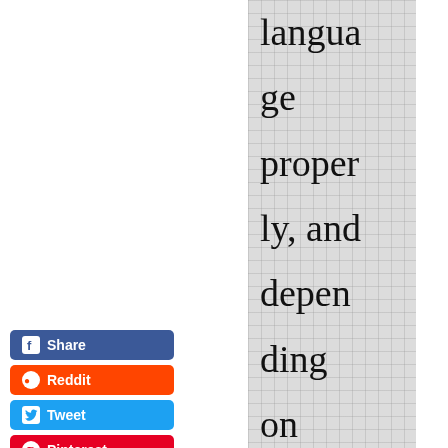language properly, and depending on amateurs increases the risk of ending up with a poorly done
[Figure (screenshot): Social media share buttons: Facebook Share, Reddit, Tweet, Pinterest, LinkedIn Share]
y g r o u n d ? W e l i s t t h e n